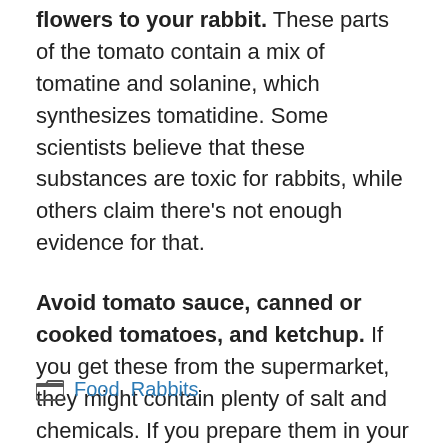flowers to your rabbit. These parts of the tomato contain a mix of tomatine and solanine, which synthesizes tomatidine. Some scientists believe that these substances are toxic for rabbits, while others claim there's not enough evidence for that.
Avoid tomato sauce, canned or cooked tomatoes, and ketchup. If you get these from the supermarket, they might contain plenty of salt and chemicals. If you prepare them in your home, these foods are too mushy and more acidic, and sugar-packed than regular, fresh tomatoes.
Food, Rabbits